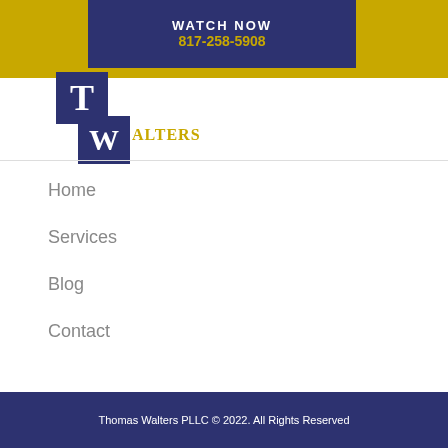WATCH NOW 817-258-5908
[Figure (logo): Thomas-Walters law firm logo with T and W letters in blue boxes on gold background]
Home
Services
Blog
Contact
Thomas Walters PLLC © 2022. All Rights Reserved